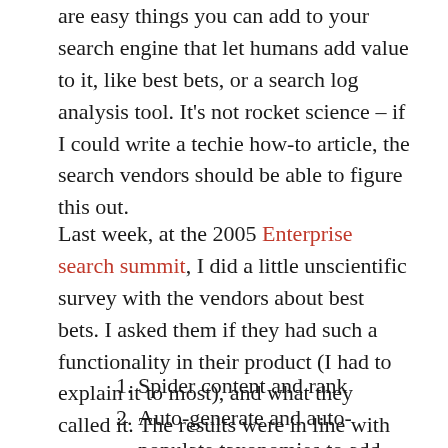are easy things you can add to your search engine that let humans add value to it, like best bets, or a search log analysis tool. It's not rocket science – if I could write a techie how-to article, the search vendors should be able to figure this out.
Last week, at the 2005 Enterprise search summit, I did a little unscientific survey with the vendors about best bets. I asked them if they had such a functionality in their product (I had to explain it to most), and what they called it. The results were in line with my overall impression of enterprise search. Most of the products work like this:
Spider content and rank
Auto-generate and auto-populate taxonomies to add value to search